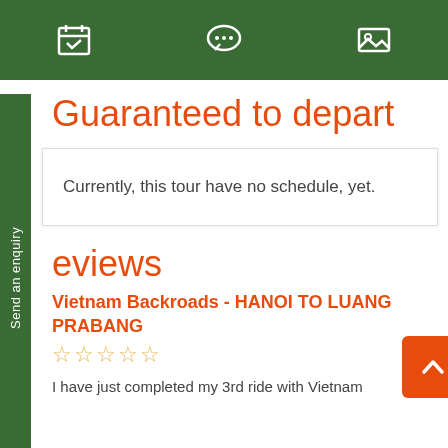Navigation bar with calendar, chat, and image icons
Guaranteed to depart
Currently, this tour have no schedule, yet.
eviews
Vietnam Backroads - HANOI TO LUANG PRABANG
★★★★★ (empty stars)
I have just completed my 3rd ride with Vietnam